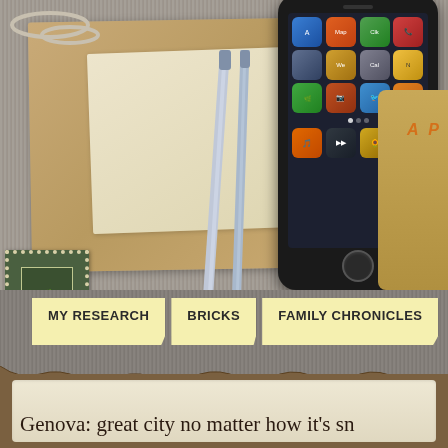[Figure (photo): Website screenshot/infographic showing a desk collage with iPhone, pens, business cards, kraft paper, postage stamp on a gray linen background]
A P
MY RESEARCH
BRICKS
FAMILY CHRONICLES
Genova: great city no matter how it's sn